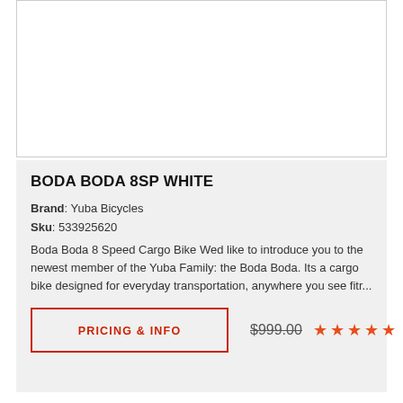[Figure (photo): Product image area (white background, no visible image content)]
BODA BODA 8SP WHITE
Brand: Yuba Bicycles
Sku: 533925620
Boda Boda 8 Speed Cargo Bike Wed like to introduce you to the newest member of the Yuba Family: the Boda Boda. Its a cargo bike designed for everyday transportation, anywhere you see fitr...
PRICING & INFO  $999.00  ★★★★★